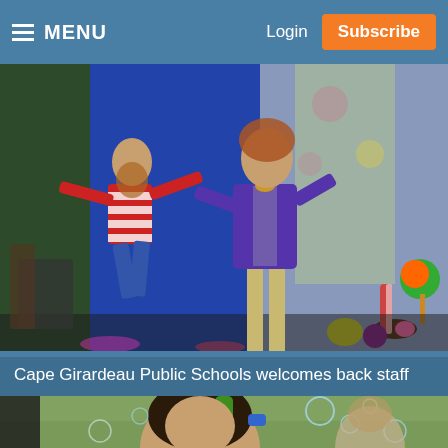MENU | Login | Subscribe
[Figure (photo): Two performers on a theatrical stage: one wearing a red and white striped shirt crouching, another in a purple suit standing. Colorful candy-themed props and shiny backdrop visible — appears to be a school production of Willy Wonka or similar.]
Cape Girardeau Public Schools welcomes back staff
[Figure (photo): A young girl with dark hair and some green color in it, photographed outdoors with bubbles visible in the background and other children partially visible.]